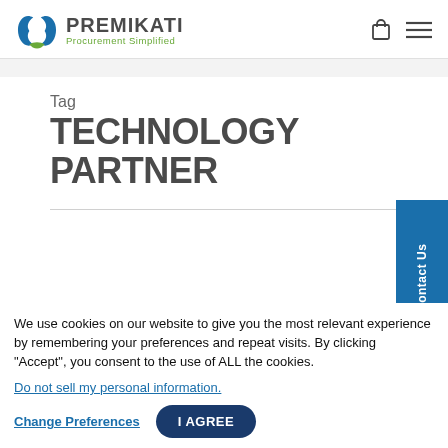PREMIKATI Procurement Simplified
Tag
TECHNOLOGY PARTNER
We use cookies on our website to give you the most relevant experience by remembering your preferences and repeat visits. By clicking “Accept”, you consent to the use of ALL the cookies.
Do not sell my personal information.
Change Preferences   I AGREE